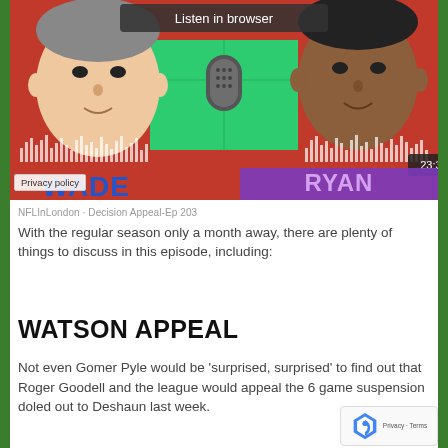[Figure (screenshot): Podcast player screenshot showing two illustrated faces (Wade and Ryan Gill) with a waveform audio player, 'Listen in browser' button, and timestamp 23:31. Red and green background with podcast branding.]
Privacy policy
NFLInLondon · Decision Appeal-Ep 203
With the regular season only a month away, there are plenty of things to discuss in this episode, including:
WATSON APPEAL
Not even Gomer Pyle would be 'surprised, surprised' to find out that Roger Goodell and the league would appeal the 6 game suspension doled out to Deshaun last week.